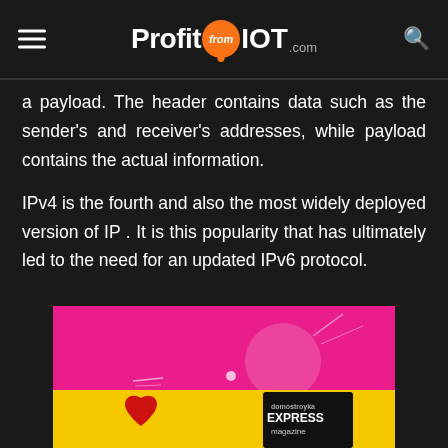ProfitfromIOT.com
a payload. The header contains data such as the sender's and receiver's addresses, while payload contains the actual information.
IPv4 is the fourth and also the most widely deployed version of IP . It is this popularity that has ultimately led to the need for an updated IPv6 protocol.
[Figure (photo): Advertisement banner with pink background showing a heart and Express magazine, overlaid with a yellow promotional strip]